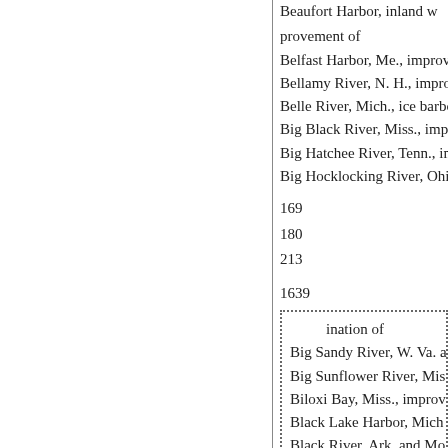Beaufort Harbor, inland w... provement of
Belfast Harbor, Me., improvement
Bellamy River, N. H., improvement
Belle River, Mich., ice harbor o
Big Black River, Miss., improve
Big Hatchee River, Tenn., impr
Big Hocklocking River, Ohio, f
169
180
213
1639
ination of
Big Sandy River, W. Va. a
Big Sunflower River, Mis
Biloxi Bay, Miss., improv
Black Lake Harbor, Mich
Black River, Ark. and Mo
ENG 88-1